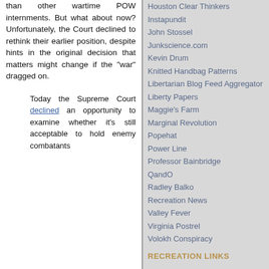than other wartime POW internments. But what about now? Unfortunately, the Court declined to rethink their earlier position, despite hints in the original decision that matters might change if the "war" dragged on.
Today the Supreme Court declined an opportunity to examine whether it's still acceptable to hold enemy combatants
Houston Clear Thinkers
Instapundit
John Stossel
Junkscience.com
Kevin Drum
Knitted Handbag Patterns
Libertarian Blog Feed Aggregator
Liberty Papers
Maggie's Farm
Marginal Revolution
Popehat
Power Line
Professor Bainbridge
QandO
Radley Balko
Recreation News
Valley Fever
Virginia Postrel
Volokh Conspiracy
RECREATION LINKS